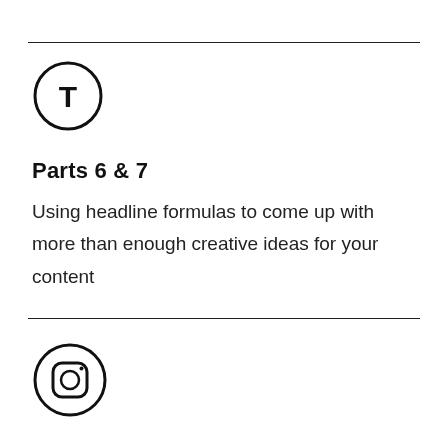[Figure (illustration): Circle with letter T inside]
Parts 6 & 7
Using headline formulas to come up with more than enough creative ideas for your content
[Figure (logo): Instagram logo icon inside a circle]